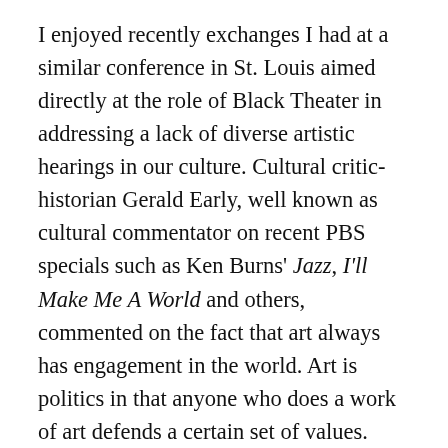I enjoyed recently exchanges I had at a similar conference in St. Louis aimed directly at the role of Black Theater in addressing a lack of diverse artistic hearings in our culture. Cultural critic-historian Gerald Early, well known as cultural commentator on recent PBS specials such as Ken Burns' Jazz, I'll Make Me A World and others, commented on the fact that art always has engagement in the world. Art is politics in that anyone who does a work of art defends a certain set of values. Early reminded us of the history of Black audiences, that despite commodification and commercialism, we were an audience who could always see beyond bad politics and empty rhetoric and still be moved powerfully inwardly and externally. So, I guess there is still hope even